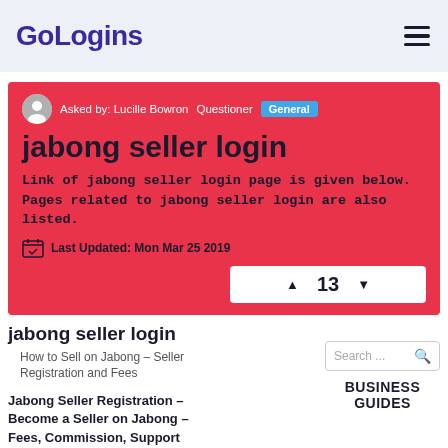GoLogins
Asked by: Lucille Bowron  Questioner  General
jabong seller login
Link of jabong seller login page is given below. Pages related to jabong seller login are also listed.
Last Updated: Mon Mar 25 2019
▲  13  ▼
jabong seller login
How to Sell on Jabong – Seller Registration and Fees
Jabong Seller Registration – Become a Seller on Jabong – Fees, Commission, Support
Search ...
BUSINESS GUIDES